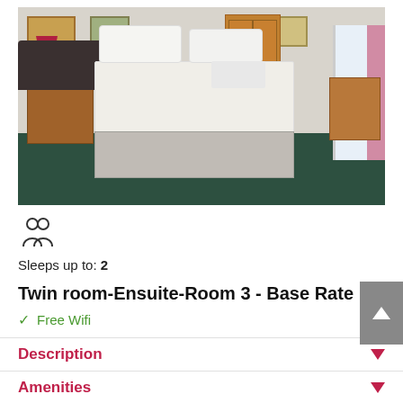[Figure (photo): Hotel twin room with two beds, white bedding, wooden furniture including nightstands and wardrobe, green carpet floor, red bedside lamp, framed pictures on white walls, window with pink curtains on right side]
Sleeps up to: 2
Twin room-Ensuite-Room 3 - Base Rate
Free Wifi
Description
Amenities